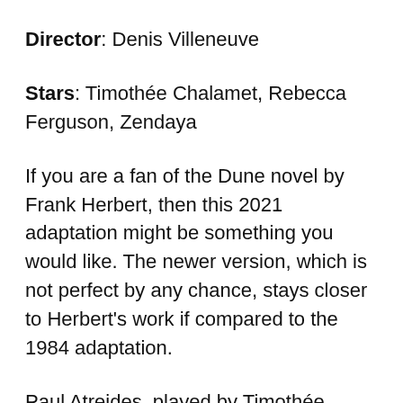Director: Denis Villeneuve
Stars: Timothée Chalamet, Rebecca Ferguson, Zendaya
If you are a fan of the Dune novel by Frank Herbert, then this 2021 adaptation might be something you would like. The newer version, which is not perfect by any chance, stays closer to Herbert's work if compared to the 1984 adaptation.
Paul Atreides, played by Timothée Chalamet, must make his way to a dangerous corner of the universe where Spice, the drug that makes it possible to travel through space faster than light, can be found.
Dune is such an ambitious project, given the source